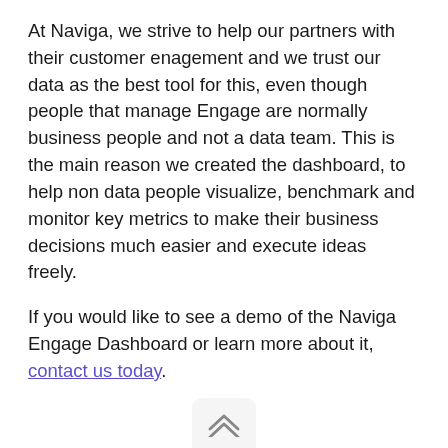At Naviga, we strive to help our partners with their customer enagement and we trust our data as the best tool for this, even though people that manage Engage are normally business people and not a data team. This is the main reason we created the dashboard, to help non data people visualize, benchmark and monitor key metrics to make their business decisions much easier and execute ideas freely.
If you would like to see a demo of the Naviga Engage Dashboard or learn more about it, contact us today.